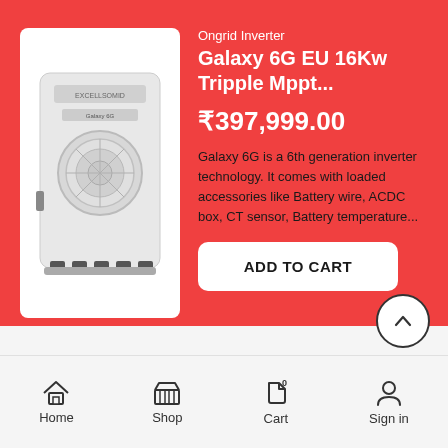[Figure (photo): White solar inverter device with circular fan grille and bottom connectors on white background]
Ongrid Inverter
Galaxy 6G EU 16Kw Tripple Mppt...
₹397,999.00
Galaxy 6G is a 6th generation inverter technology. It comes with loaded accessories like Battery wire, ACDC box, CT sensor, Battery temperature...
ADD TO CART
Home  Shop  Cart  Sign in